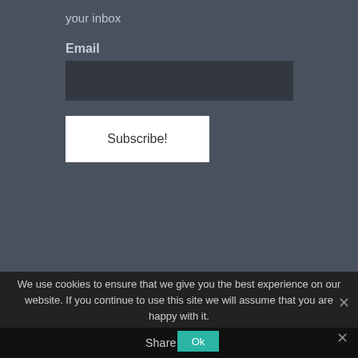your inbox
Email
Subscribe!
We use cookies to ensure that we give you the best experience on our website. If you continue to use this site we will assume that you are happy with it.
Ok
Share This
×
✕